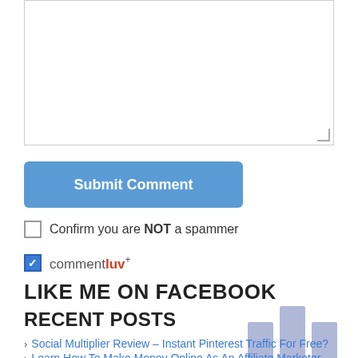[Figure (screenshot): Empty textarea input box for comment submission]
Submit Comment
Confirm you are NOT a spammer
[Figure (logo): CommentLuv+ logo with checked checkbox]
LIKE ME ON FACEBOOK
[Figure (other): Facebook widget loading bars (three light purple rectangles)]
RECENT POSTS
Social Multiplier Review – Instant Pinterest Traffic For Free?
Learn How To Make Money Online As An Affiliate Marketer
MLSP Review: NEW My Lead System Pro Review for 2016
How To Raise Money For A Business Purchase Or Expense
3 Golden Rules to Remember When Promoting Your Business